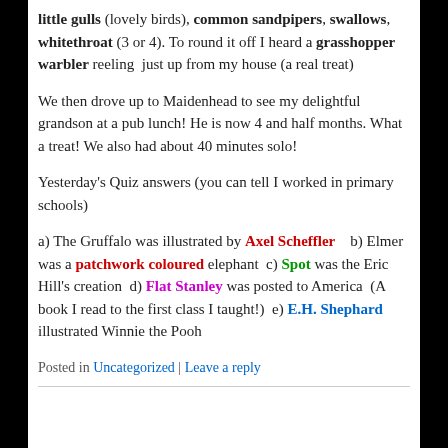little gulls (lovely birds), common sandpipers, swallows, whitethroat (3 or 4). To round it off I heard a grasshopper warbler reeling just up from my house (a real treat)
We then drove up to Maidenhead to see my delightful grandson at a pub lunch! He is now 4 and half months. What a treat! We also had about 40 minutes solo!
Yesterday's Quiz answers (you can tell I worked in primary schools)
a) The Gruffalo was illustrated by Axel Scheffler   b) Elmer was a patchwork coloured elephant  c) Spot was the Eric Hill's creation  d) Flat Stanley was posted to America  (A book I read to the first class I taught!)  e) E.H. Shephard illustrated Winnie the Pooh
Posted in Uncategorized | Leave a reply